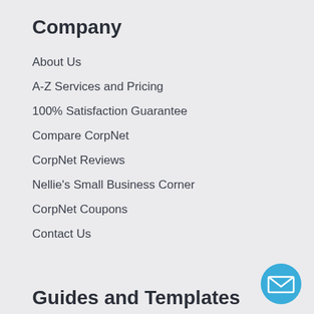Company
About Us
A-Z Services and Pricing
100% Satisfaction Guarantee
Compare CorpNet
CorpNet Reviews
Nellie's Small Business Corner
CorpNet Coupons
Contact Us
Guides and Templates
Starting A Business Checklist
[Figure (illustration): Blue circle email/contact button with envelope icon in bottom right corner]